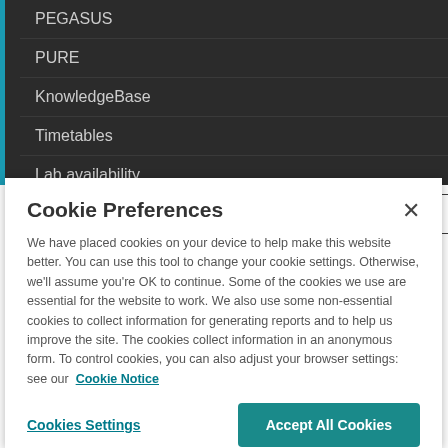PEGASUS
PURE
KnowledgeBase
Timetables
Lab availability
Telephone Directory
Cookie Preferences
We have placed cookies on your device to help make this website better. You can use this tool to change your cookie settings. Otherwise, we'll assume you're OK to continue. Some of the cookies we use are essential for the website to work. We also use some non-essential cookies to collect information for generating reports and to help us improve the site. The cookies collect information in an anonymous form. To control cookies, you can also adjust your browser settings: see our Cookie Notice
Cookies Settings
Accept All Cookies